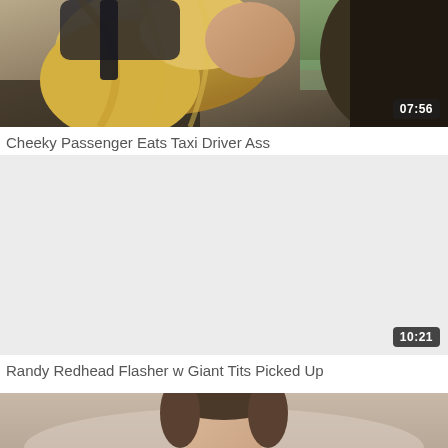[Figure (photo): Video thumbnail showing a blonde woman in a car, close-up scene with duration badge 07:56]
Cheeky Passenger Eats Taxi Driver Ass
[Figure (photo): Video thumbnail area (mostly white/blank) with duration badge 10:21]
Randy Redhead Flasher w Giant Tits Picked Up
[Figure (photo): Partial video thumbnail showing a brunette woman, cropped at bottom of page]